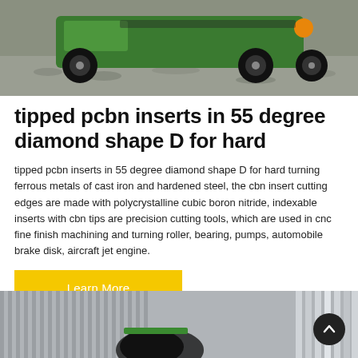[Figure (photo): Top portion of a photo showing a green industrial vehicle/sweeper on a gravel surface]
tipped pcbn inserts in 55 degree diamond shape D for hard
tipped pcbn inserts in 55 degree diamond shape D for hard turning ferrous metals of cast iron and hardened steel, the cbn insert cutting edges are made with polycrystalline cubic boron nitride, indexable inserts with cbn tips are precision cutting tools, which are used in cnc fine finish machining and turning roller, bearing, pumps, automobile brake disk, aircraft jet engine.
[Figure (photo): Bottom portion showing industrial machinery, partially visible, with a scroll-to-top button overlay]